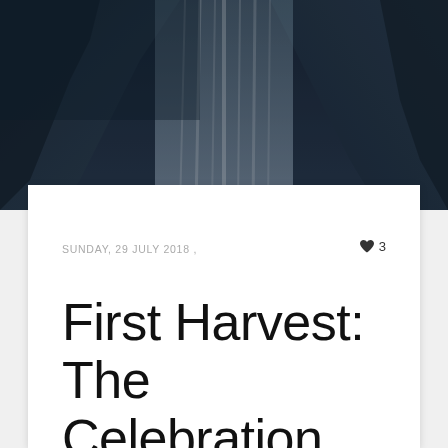[Figure (photo): Dark blue-toned photo of a waterfall with rocky surroundings, used as a hero/banner image at the top of the page.]
SUNDAY, 29 JULY 2018 ,
♥ 3
First Harvest: The Celebration Of Lughnasadh